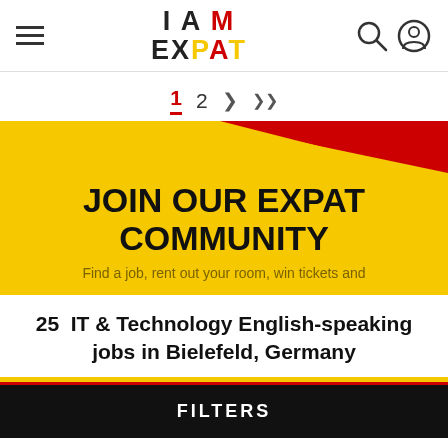I AM EXPAT
1  2  >  >>
[Figure (infographic): IAmExpat promotional banner with yellow and red background diagonal sections. Text: JOIN OUR EXPAT COMMUNITY. Find a job, rent out your room, win tickets and]
25 IT & Technology English-speaking jobs in Bielefeld, Germany
FILTERS